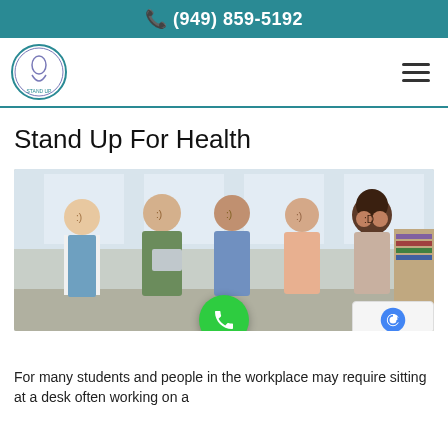📞 (949) 859-5192
[Figure (logo): Circular logo with stylized figure, medical/chiropractic practice logo]
Stand Up For Health
[Figure (photo): Group of five smiling young professionals standing together in an office setting]
For many students and people in the workplace may require sitting at a desk often working on a